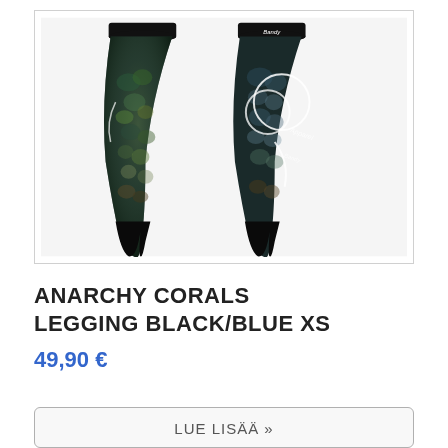[Figure (photo): Product photo showing front and back views of Anarchy Corals legging in black/blue colorway with reptile/coral scale pattern, white logo branding on back leg]
ANARCHY CORALS LEGGING BLACK/BLUE XS
49,90 €
LUE LISÄÄ »